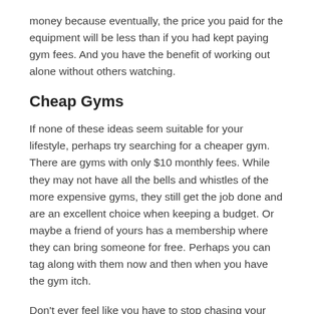money because eventually, the price you paid for the equipment will be less than if you had kept paying gym fees. And you have the benefit of working out alone without others watching.
Cheap Gyms
If none of these ideas seem suitable for your lifestyle, perhaps try searching for a cheaper gym. There are gyms with only $10 monthly fees. While they may not have all the bells and whistles of the more expensive gyms, they still get the job done and are an excellent choice when keeping a budget. Or maybe a friend of yours has a membership where they can bring someone for free. Perhaps you can tag along with them now and then when you have the gym itch.
Don't ever feel like you have to stop chasing your fitness goals due to finances. Between smart grocery shopping choices and alternative gym ideas, you can achieve anything you set your mind to.